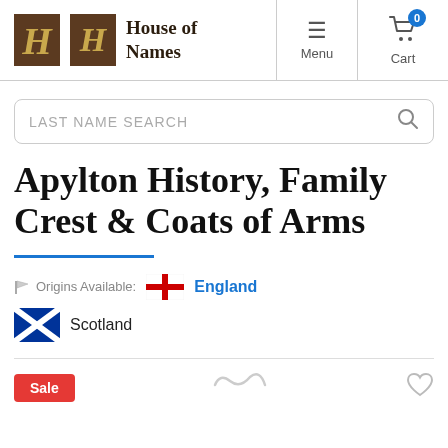House of Names — Menu | Cart (0)
LAST NAME SEARCH
Apylton History, Family Crest & Coats of Arms
Origins Available: England
Scotland